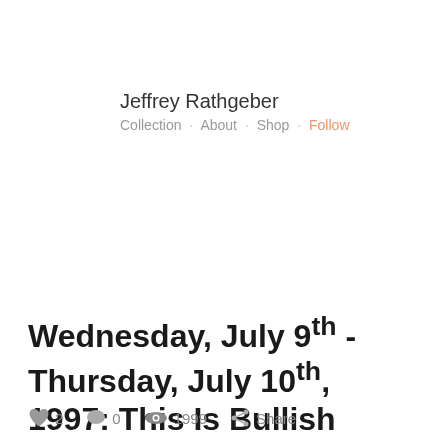Jeffrey Rathgeber
Collection · About · Shop · Follow
Wednesday, July 9th - Thursday, July 10th, 1997: This Is Bullish
Make an Offer
2   0   1999   Share